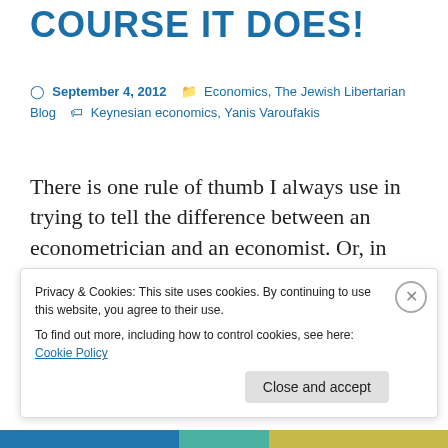COURSE IT DOES!
September 4, 2012   Economics, The Jewish Libertarian Blog   Keynesian economics, Yanis Varoufakis
There is one rule of thumb I always use in trying to tell the difference between an econometrician and an economist. Or, in other words, a Keynesian versus an Austrian economist. That is, Keynesian arguments are generally devoid of any soul or feeling, and treat economics like a laboratory science where
Privacy & Cookies: This site uses cookies. By continuing to use this website, you agree to their use.
To find out more, including how to control cookies, see here: Cookie Policy
Close and accept